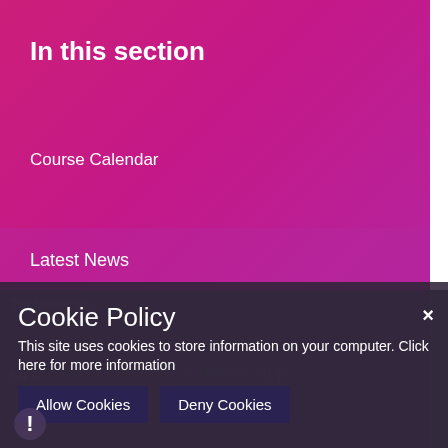In this section
Course Calendar
Latest News
Download our FREE mobile app
Cookie Policy
This site uses cookies to store information on your computer. Click here for more information
Allow Cookies
Deny Cookies